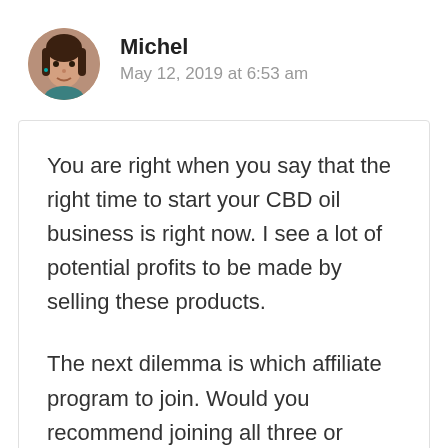[Figure (photo): Circular avatar photo of a woman with dark hair]
Michel
May 12, 2019 at 6:53 am
You are right when you say that the right time to start your CBD oil business is right now. I see a lot of potential profits to be made by selling these products.
The next dilemma is which affiliate program to join. Would you recommend joining all three or concentrating on one at a time? I